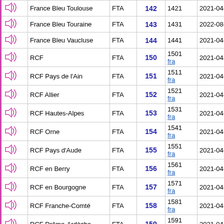|  | Name | Type | No. | ID | Date |
| --- | --- | --- | --- | --- | --- |
| icon | France Bleu Toulouse | FTA | 142 | 1421 | 2021-04-15 |
| icon | France Bleu Touraine | FTA | 143 | 1431 | 2022-08-09 |
| icon | France Bleu Vaucluse | FTA | 144 | 1441 | 2021-04-15 |
| icon | RCF | FTA | 150 | 1501 fra | 2021-04-15 |
| icon | RCF Pays de l'Ain | FTA | 151 | 1511 fra | 2021-04-15 |
| icon | RCF Allier | FTA | 152 | 1521 fra | 2021-04-15 |
| icon | RCF Hautes-Alpes | FTA | 153 | 1531 fra | 2021-04-15 |
| icon | RCF Orne | FTA | 154 | 1541 fra | 2021-04-15 |
| icon | RCF Pays d'Aude | FTA | 155 | 1551 fra | 2021-04-15 |
| icon | RCF en Berry | FTA | 156 | 1561 fra | 2021-04-15 |
| icon | RCF en Bourgogne | FTA | 157 | 1571 fra | 2021-04-15 |
| icon | RCF Franche-Comté | FTA | 158 | 1581 fra | 2021-04-15 |
| icon | RCF Drôme-Ardèche | FTA | 159 | 1591 fra | 2021-04-15 |
| icon | RCF Bordeaux | FTA | 160 | 1601 fra | 2021-04-15 |
| icon | RCF Alpha Rennes | FTA | 161 | 1611 fra | 2021-04-15 |
| icon | RCF Touraine | FTA | 162 | 1621 fra | 2021-04-15 |
| icon | RCF Isère | FTA | 163 | 1631 | 2021-04-15 |